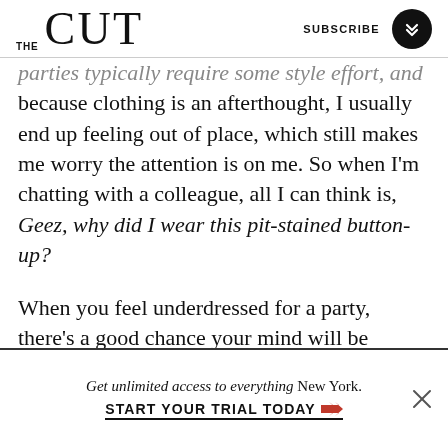THE CUT | SUBSCRIBE
parties typically require some style effort, and because clothing is an afterthought, I usually end up feeling out of place, which still makes me worry the attention is on me. So when I'm chatting with a colleague, all I can think is, Geez, why did I wear this pit-stained button-up?
When you feel underdressed for a party, there's a good chance your mind will be focused on one thing throughout that party: how underdressed you are. This is an easy enough distraction to eliminate, though. This is why MacLeod says it's important to,
Get unlimited access to everything New York.
START YOUR TRIAL TODAY ➤➤